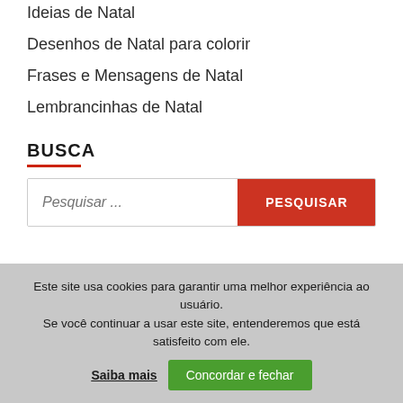Ideias de Natal
Desenhos de Natal para colorir
Frases e Mensagens de Natal
Lembrancinhas de Natal
BUSCA
Pesquisar ...
PESQUISAR
Este site usa cookies para garantir uma melhor experiência ao usuário.
Se você continuar a usar este site, entenderemos que está satisfeito com ele.
Saiba mais
Concordar e fechar